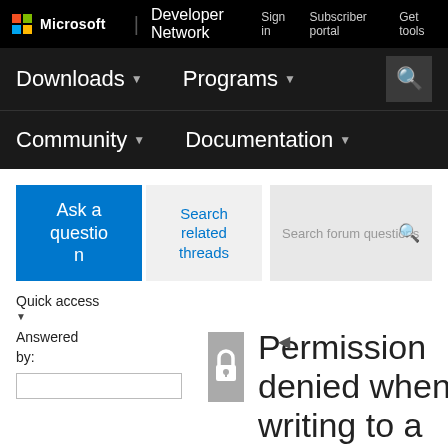Microsoft | Developer Network
Sign in  Subscriber portal  Get tools
Downloads  Programs  Community  Documentation
[Figure (screenshot): Ask a question button (blue), Search related threads button (grey), Search forum questions input box]
Quick access
Answered by:
Permission denied when writing to a folder after